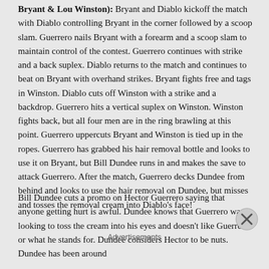Bryant & Lou Winston): Bryant and Diablo kickoff the match with Diablo controlling Bryant in the corner followed by a scoop slam. Guerrero nails Bryant with a forearm and a scoop slam to maintain control of the contest. Guerrero continues with strike and a back suplex. Diablo returns to the match and continues to beat on Bryant with overhand strikes. Bryant fights free and tags in Winston. Diablo cuts off Winston with a strike and a backdrop. Guerrero hits a vertical suplex on Winston. Winston fights back, but all four men are in the ring brawling at this point. Guerrero uppercuts Bryant and Winston is tied up in the ropes. Guerrero has grabbed his hair removal bottle and looks to use it on Bryant, but Bill Dundee runs in and makes the save to attack Guerrero. After the match, Guerrero decks Dundee from behind and looks to use the hair removal on Dundee, but misses and tosses the removal cream into Diablo's face!
Bill Dundee cuts a promo on Hector Guerrero saying that anyone getting hurt is awful. Dundee knows that Guerrero was looking to toss the cream into his eyes and doesn't like Guerrero or what he stands for. Dundee considers Hector to be nuts. Dundee has been around
Advertisements